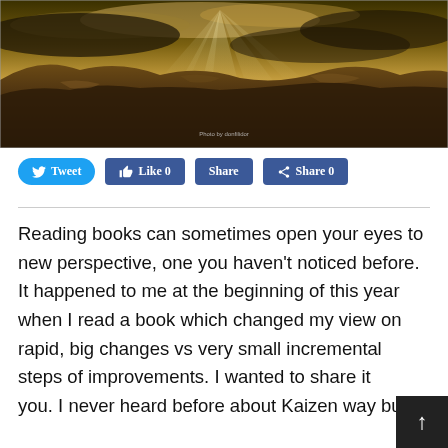[Figure (photo): Dramatic mountain landscape at sunset with crepuscular rays breaking through clouds above rocky terrain. Photo credit 'donfilidor' visible.]
Tweet  Like 0  Share  Share 0
Reading books can sometimes open your eyes to new perspective, one you haven't noticed before. It happened to me at the beginning of this year when I read a book which changed my view on rapid, big changes vs very small incremental steps of improvements. I wanted to share it with you. I never heard before about Kaizen way but I